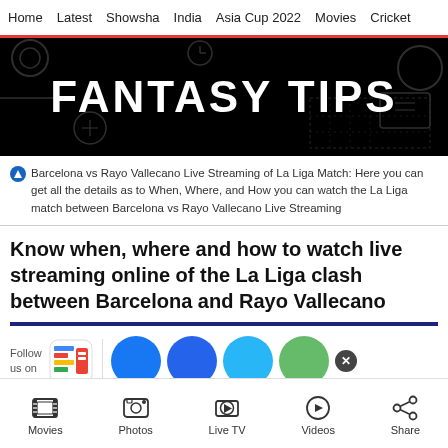Home   Latest   Showsha   India   Asia Cup 2022   Movies   Cricket
[Figure (illustration): Black banner with white bold text reading 'FANTASY TIPS' with faint doodle background]
Barcelona vs Rayo Vallecano Live Streaming of La Liga Match: Here you can get all the details as to When, Where, and How you can watch the La Liga match between Barcelona vs Rayo Vallecano Live Streaming
Know when, where and how to watch live streaming online of the La Liga clash between Barcelona and Rayo Vallecano
[Figure (infographic): Follow us on bar with Google News icon, Facebook blue circle, another blue circle, cyan circle, green circle, and X close button]
Movies   Photos   Live TV   Videos   Share